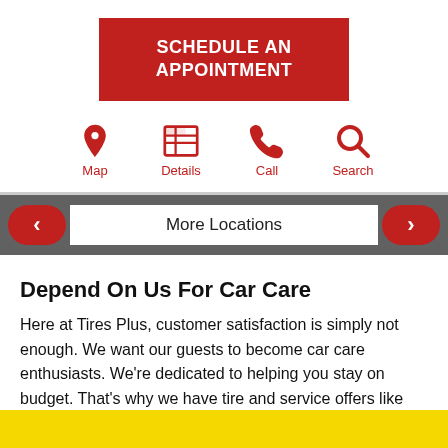SCHEDULE AN APPOINTMENT
[Figure (infographic): Four red icons in a row: Map (location pin), Details (document/grid icon), Call (phone handset), Search (magnifying glass), each with red label text below]
More Locations
Depend On Us For Car Care
Here at Tires Plus, customer satisfaction is simply not enough. We want our guests to become car care enthusiasts. We're dedicated to helping you stay on budget. That's why we have tire and service offers like coupons and deals. Get started by finding your closest Jefferson Tires Plus store or schedule your next service today!